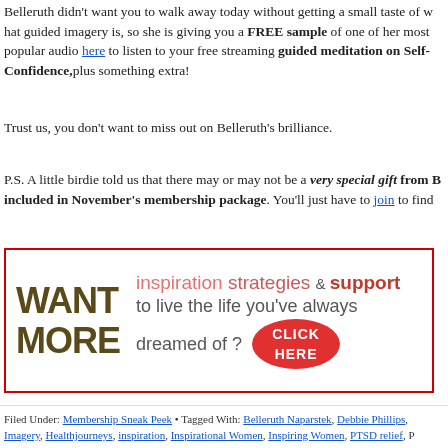Belleruth didn't want you to walk away today without getting a small taste of what guided imagery is, so she is giving you a FREE sample of one of her most popular audio programs. Click here to listen to your free streaming guided meditation on Self-Confidence, plus something extra!
Trust us, you don't want to miss out on Belleruth's brilliance.
P.S. A little birdie told us that there may or may not be a very special gift from B... included in November's membership package. You'll just have to join to find...
[Figure (infographic): Advertisement banner with red border. Left side shows 'WANT MORE' in large bold dark tan letters. Right side shows 'inspiration strategies & support' in pink/red text, followed by 'to live the life you've always dreamed of?' in grey, and a red oval button saying 'CLICK HERE'.]
Filed Under: Membership Sneak Peek • Tagged With: Belleruth Naparstek, Debbie Phillips, Imagery, Healthjourneys, inspiration, Inspirational Women, Inspiring Women, PTSD relief, P...